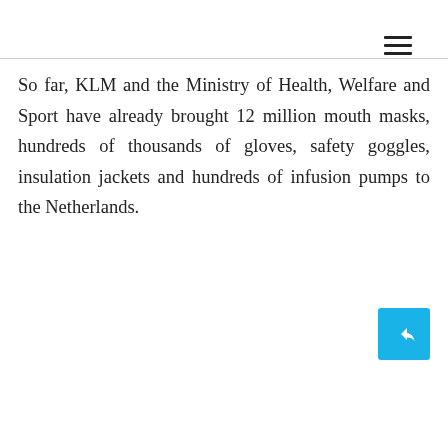≡
So far, KLM and the Ministry of Health, Welfare and Sport have already brought 12 million mouth masks, hundreds of thousands of gloves, safety goggles, insulation jackets and hundreds of infusion pumps to the Netherlands.